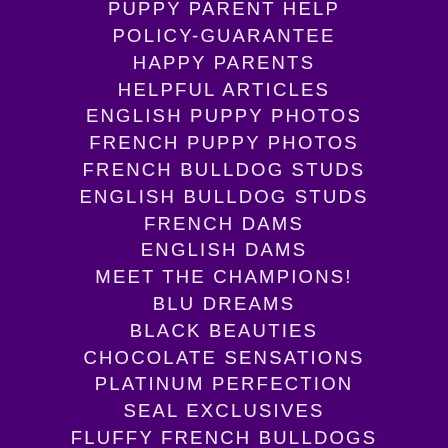PUPPY PARENT HELP
POLICY-GUARANTEE
HAPPY PARENTS
HELPFUL ARTICLES
ENGLISH PUPPY PHOTOS
FRENCH PUPPY PHOTOS
FRENCH BULLDOG STUDS
ENGLISH BULLDOG STUDS
FRENCH DAMS
ENGLISH DAMS
MEET THE CHAMPIONS!
BLU DREAMS
BLACK BEAUTIES
CHOCOLATE SENSATIONS
PLATINUM PERFECTION
SEAL EXCLUSIVES
FLUFFY FRENCH BULLDOGS